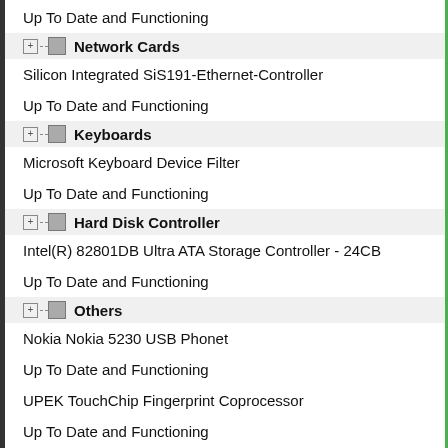Up To Date and Functioning
Network Cards
Silicon Integrated SiS191-Ethernet-Controller
Up To Date and Functioning
Keyboards
Microsoft Keyboard Device Filter
Up To Date and Functioning
Hard Disk Controller
Intel(R) 82801DB Ultra ATA Storage Controller - 24CB
Up To Date and Functioning
Others
Nokia Nokia 5230 USB Phonet
Up To Date and Functioning
UPEK TouchChip Fingerprint Coprocessor
Up To Date and Functioning